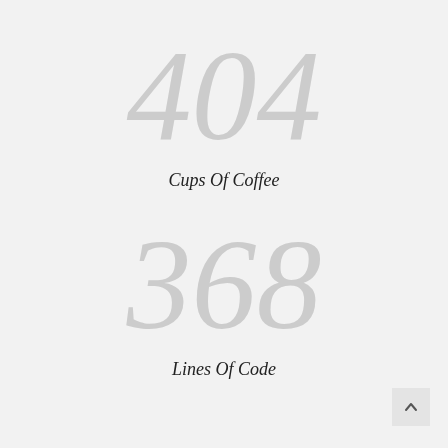404
Cups Of Coffee
368
Lines Of Code